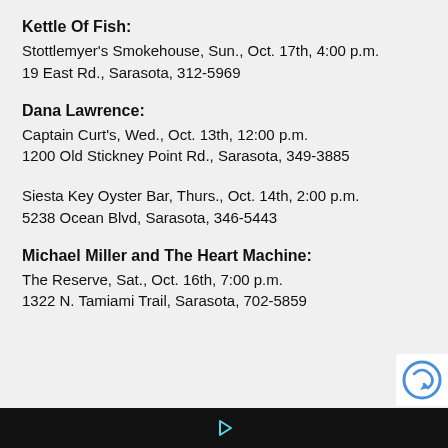Kettle Of Fish:
Stottlemyer's Smokehouse, Sun., Oct. 17th, 4:00 p.m.
19 East Rd., Sarasota, 312-5969
Dana Lawrence:
Captain Curt's, Wed., Oct. 13th, 12:00 p.m.
1200 Old Stickney Point Rd., Sarasota, 349-3885
Siesta Key Oyster Bar, Thurs., Oct. 14th, 2:00 p.m.
5238 Ocean Blvd, Sarasota, 346-5443
Michael Miller and The Heart Machine:
The Reserve, Sat., Oct. 16th, 7:00 p.m.
1322 N. Tamiami Trail, Sarasota, 702-5859
▶